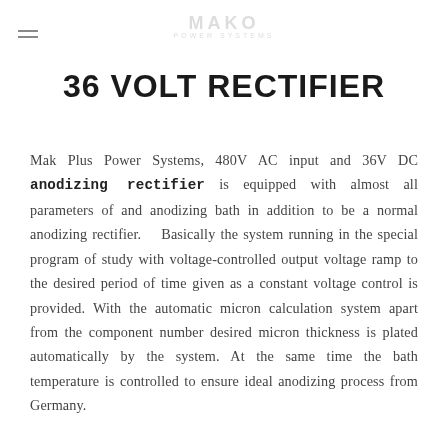MAKO POWER SYSTEMS
36 VOLT RECTIFIER
Mak Plus Power Systems, 480V AC input and 36V DC anodizing rectifier is equipped with almost all parameters of and anodizing bath in addition to be a normal anodizing rectifier.   Basically the system running in the special program of study with voltage-controlled output voltage ramp to the desired period of time given as a constant voltage control is provided. With the automatic micron calculation system apart from the component number desired micron thickness is plated automatically by the system. At the same time the bath temperature is controlled to ensure ideal anodizing process from Germany.